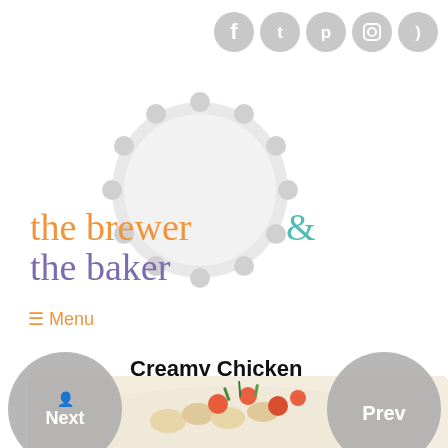[Figure (illustration): Five social media icons (Facebook, Twitter, Pinterest, Instagram, RSS) in gray circular buttons, top right]
[Figure (logo): The Brewer & The Baker blog logo with bottle cap graphic and stylized text in orange, teal, and purple]
≡ Menu
Creamy Chicken Pesto Pasta
Nextwmda  April 19, 2007  in Chicken & Turkey, Pasta
[Figure (photo): Food photo showing pasta dish with tomatoes and herbs at the bottom of the page]